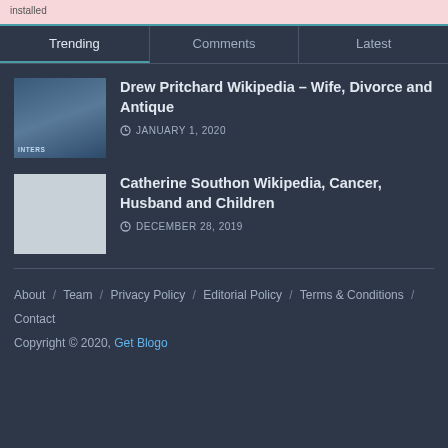installed
Trending  Comments  Latest
Drew Pritchard Wikipedia – Wife, Divorce and Antique
JANUARY 1, 2020
Catherine Southon Wikipedia, Cancer, Husband and Children
DECEMBER 28, 2019
About / Team / Privacy Policy / Editorial Policy / Terms & Conditions / Contact
Copyright © 2020, Get Blogo